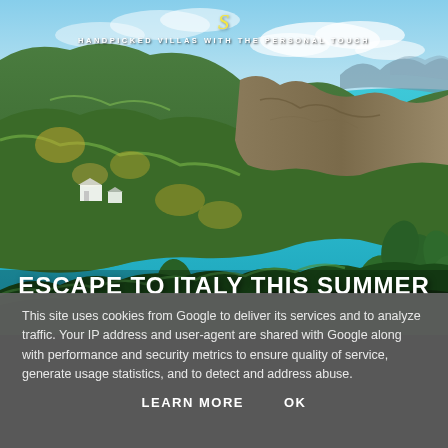HANDPICKED VILLAS WITH THE PERSONAL TOUCH
[Figure (photo): Aerial coastal landscape of an Italian island showing green hillsides with cacti and Mediterranean vegetation, dramatic cliffs, white buildings nestled in the hills, and turquoise-blue sea with rocky formations in the distance under a blue sky with clouds.]
ESCAPE TO ITALY THIS SUMMER
This site uses cookies from Google to deliver its services and to analyze traffic. Your IP address and user-agent are shared with Google along with performance and security metrics to ensure quality of service, generate usage statistics, and to detect and address abuse.
LEARN MORE    OK